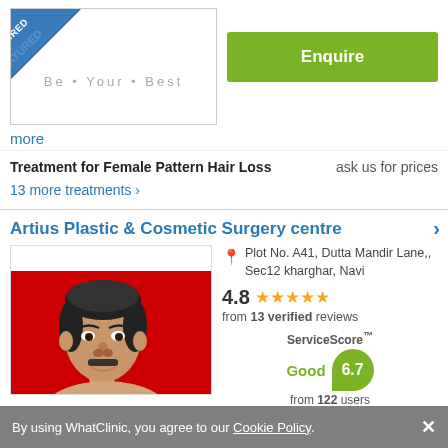[Figure (photo): Clinic image box with 'Be Your Best' text and a FEATURED diagonal ribbon in blue]
Enquire
more
Treatment for Female Pattern Hair Loss   ask us for prices
13 more treatments >
Artius Plastic & Cosmetic Surgery centre >
[Figure (photo): Photo of a doctor/surgeon against a red background]
Plot No. A41, Dutta Mandir Lane,, Sec12 kharghar, Navi
4.8 ★★★★★ from 13 verified reviews
ServiceScore™ Good 6.7 from 122 users
By using WhatClinic, you agree to our Cookie Policy.